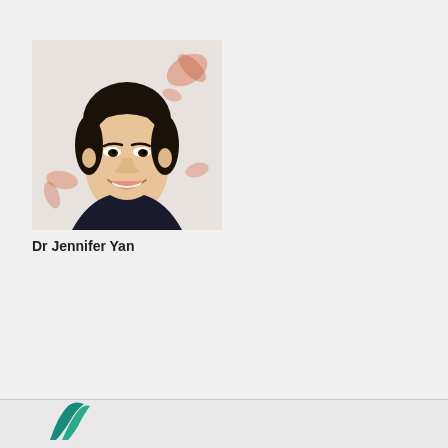[Figure (photo): Portrait photo of Dr Jennifer Yan, a young Asian woman smiling, wearing dark top, with floral background]
Dr Jennifer Yan
« First ‹ Previous 1 2 3 4 Next › Last »
[Figure (logo): Partial logo at bottom left, teal/green colored]